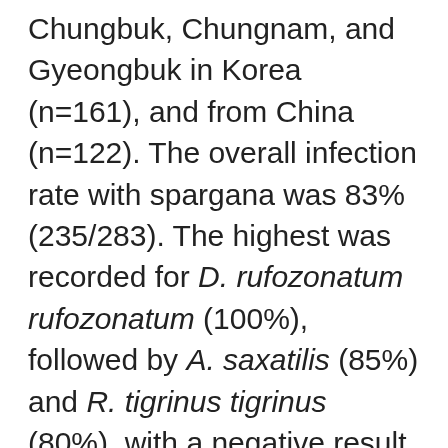Chungbuk, Chungnam, and Gyeongbuk in Korea (n=161), and from China (n=122). The overall infection rate with spargana was 83% (235/283). The highest was recorded for D. rufozonatum rufozonatum (100%), followed by A. saxatilis (85%) and R. tigrinus tigrinus (80%), with a negative result for E. davidi (0%) and E. schrenkii